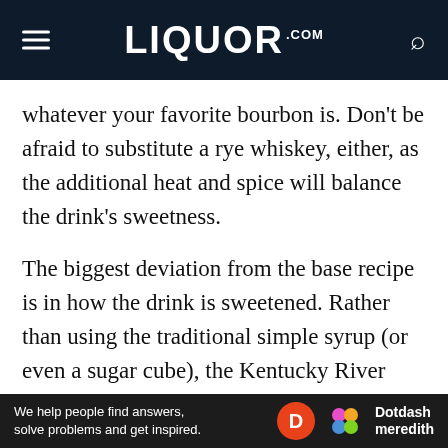LIQUOR.COM
whatever your favorite bourbon is. Don't be afraid to substitute a rye whiskey, either, as the additional heat and spice will balance the drink's sweetness.
The biggest deviation from the base recipe is in how the drink is sweetened. Rather than using the traditional simple syrup (or even a sugar cube), the Kentucky River calls for a half-ounce of creme de cacao. This sweet and creamy liqueur gives the drink a rich, chocolatey nuance. And rather than the more commonplace Angostura bitters, it takes a few dashes of peach bitters. The bitters won't affect the
[Figure (other): Dotdash Meredith advertisement banner: 'We help people find answers, solve problems and get inspired.' with Dotdash Meredith logo]